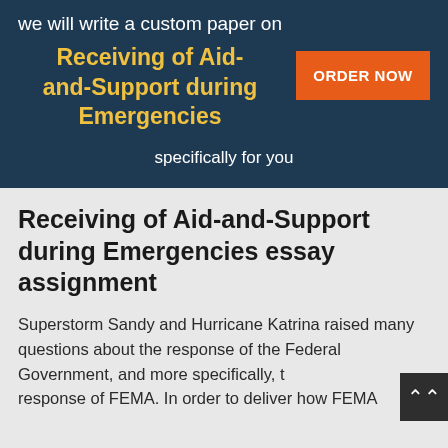we will write a custom paper on
Receiving of Aid-and-Support during Emergencies
ORDER NOW
specifically for you
Receiving of Aid-and-Support during Emergencies essay assignment
Superstorm Sandy and Hurricane Katrina raised many questions about the response of the Federal Government, and more specifically, the response of FEMA. In order to deliver how FEMA